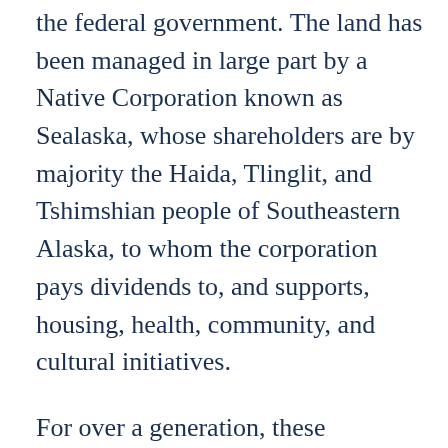the federal government. The land has been managed in large part by a Native Corporation known as Sealaska, whose shareholders are by majority the Haida, Tlinglit, and Tshimshian people of Southeastern Alaska, to whom the corporation pays dividends to, and supports, housing, health, community, and cultural initiatives.
For over a generation, these communities have modeled responsible land stewardship models that stand in contrast to the clear cut operations that their non-native counterparts have long been known for. Despite this, there have still been economic necessities that require logging to take place in old growth forests that exist in